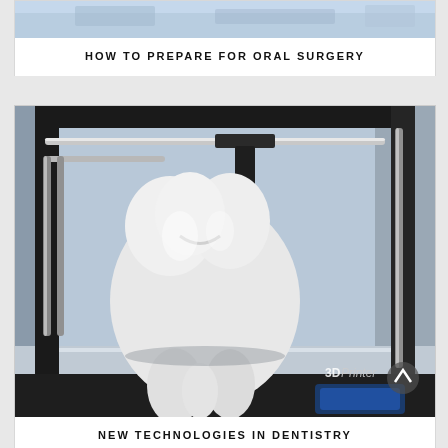[Figure (photo): Partial view of a dental operatory or clinical setting, cropped top strip at the top of page]
HOW TO PREPARE FOR ORAL SURGERY
[Figure (photo): A 3D printer with a large white tooth model being printed on its platform; the machine is labeled '3D Printer' with a blue LCD screen visible at the bottom right]
NEW TECHNOLOGIES IN DENTISTRY